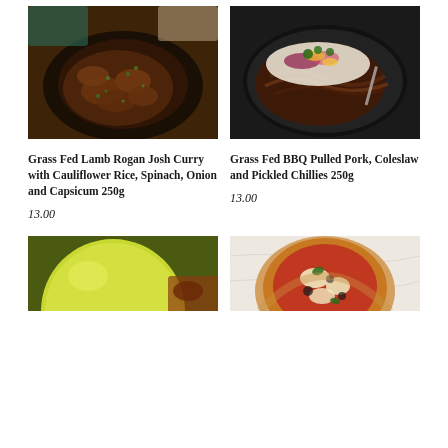[Figure (photo): Bowl of Grass Fed Lamb Rogan Josh Curry with herbs on top, dark bowl]
[Figure (photo): Pan of Grass Fed BBQ Pulled Pork topped with colorful coleslaw and pickled chillies]
Grass Fed Lamb Rogan Josh Curry with Cauliflower Rice, Spinach, Onion and Capsicum 250g
13.00
Grass Fed BBQ Pulled Pork, Coleslaw and Pickled Chillies 250g
13.00
[Figure (photo): Bright yellow-green lemon or lime close-up with food item partially visible]
[Figure (photo): Pizza with tomato sauce, cheese and toppings on white marble surface]